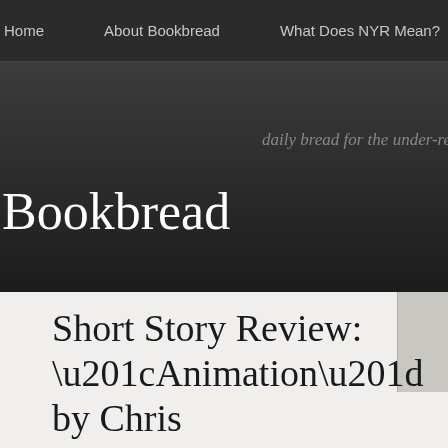Home    About Bookbread    What Does NYR Mean?
Bookbread
daily bread for the under-read
Short Story Review: “Animation” by Chris Dangle
[Figure (photo): Partial image of what appears to be a vintage camera or mechanical object on a wooden surface]